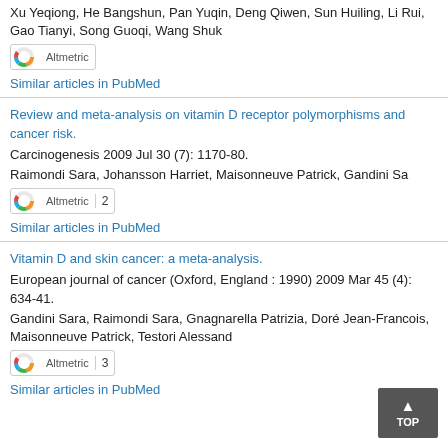Xu Yeqiong, He Bangshun, Pan Yuqin, Deng Qiwen, Sun Huiling, Li Rui, Gao Tianyi, Song Guoqi, Wang Shuk
[Figure (other): Altmetric badge with colorful donut logo]
Similar articles in PubMed
Review and meta-analysis on vitamin D receptor polymorphisms and cancer risk.
Carcinogenesis 2009 Jul 30 (7): 1170-80.
Raimondi Sara, Johansson Harriet, Maisonneuve Patrick, Gandini Sa
[Figure (other): Altmetric badge with colorful donut logo, score 2]
Similar articles in PubMed
Vitamin D and skin cancer: a meta-analysis.
European journal of cancer (Oxford, England : 1990) 2009 Mar 45 (4): 634-41.
Gandini Sara, Raimondi Sara, Gnagnarella Patrizia, Doré Jean-Francois, Maisonneuve Patrick, Testori Alessand
[Figure (other): Altmetric badge with colorful donut logo, score 3]
Similar articles in PubMed